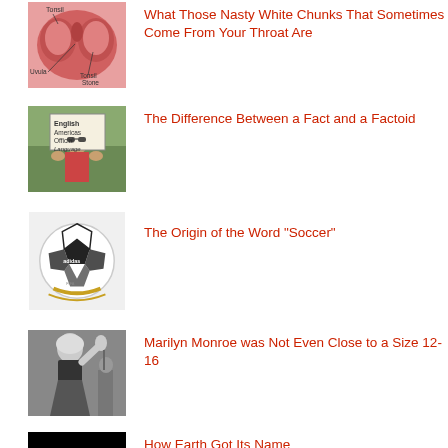What Those Nasty White Chunks That Sometimes Come From Your Throat Are
The Difference Between a Fact and a Factoid
The Origin of the Word “Soccer”
Marilyn Monroe was Not Even Close to a Size 12-16
How Earth Got Its Name